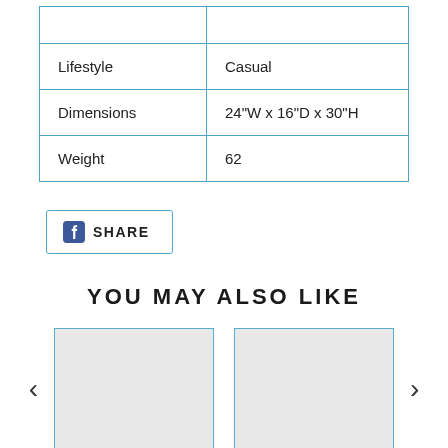|  |  |
| --- | --- |
|  |  |
| Lifestyle | Casual |
| Dimensions | 24"W x 16"D x 30"H |
| Weight | 62 |
[Figure (other): Facebook Share button with Facebook icon and SHARE text, bordered in blue]
YOU MAY ALSO LIKE
[Figure (other): Two product thumbnail placeholder images side by side with left and right navigation arrows]